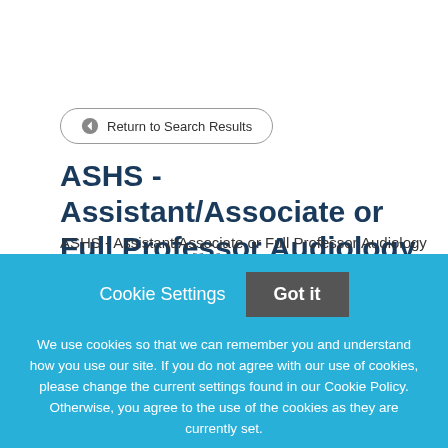Return to Search Results
ASHS - Assistant/Associate or Full Professor Audiology
ASHS - Assistant/Associate or Full Professor Audiology
Cookie Settings  Got it
We use cookies so that we can remember you and understand how you use our site. If you do not agree with our use of cookies, please change the current settings found in our Cookie Policy. Otherwise, you agree to the use of the cookies as they are currently set.